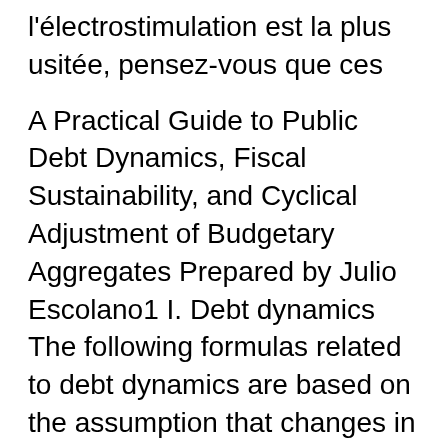l'électrostimulation est la plus usitée, pensez-vous que ces
A Practical Guide to Public Debt Dynamics, Fiscal Sustainability, and Cyclical Adjustment of Budgetary Aggregates Prepared by Julio Escolano1 I. Debt dynamics The following formulas related to debt dynamics are based on the assumption that changes in liabilities are the result of above-the-line budgetary operations. This means that the debt path is Practical Guides on BPR. These documents provide practical information on BPR requirements and best practice on how to fulfil them. Practical guides on REACH and CLP; Practical guides on BPR . The complete